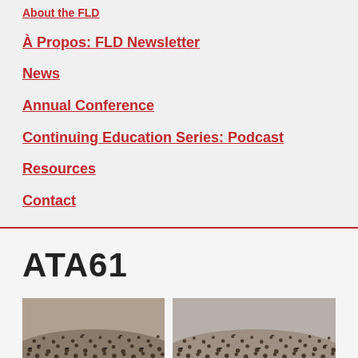About the FLD
À Propos: FLD Newsletter
News
Annual Conference
Continuing Education Series: Podcast
Resources
Contact
ATA61
[Figure (photo): Two crowd photos showing large groups of people viewed from above, placed side by side at the bottom of the page.]